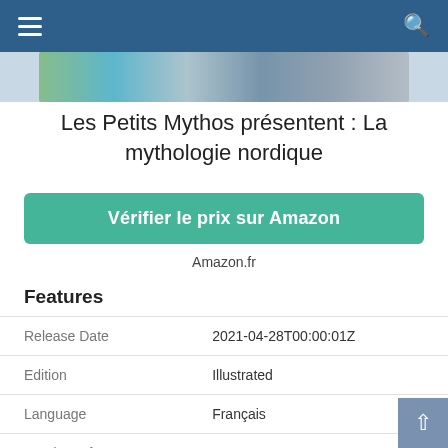[Figure (screenshot): Mobile website navigation bar with hamburger menu icon on left and search icon on right, dark blue background]
[Figure (photo): Partial view of book cover images in a strip]
Les Petits Mythos présentent : La mythologie nordique
Vérifier le prix sur Amazon
Amazon.fr
Features
|  |  |
| --- | --- |
| Release Date | 2021-04-28T00:00:01Z |
| Edition | Illustrated |
| Language | Français |
| Number Of Pages | 48 |
| Publication Date | 2021-04-28T00:00:01Z |
| Format | Illustrée |